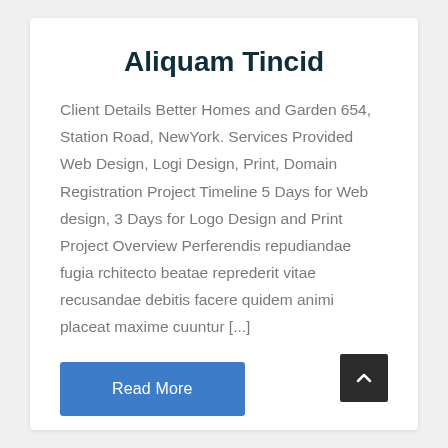Aliquam Tincid
Client Details Better Homes and Garden 654, Station Road, NewYork. Services Provided Web Design, Logi Design, Print, Domain Registration Project Timeline 5 Days for Web design, 3 Days for Logo Design and Print Project Overview Perferendis repudiandae fugia rchitecto beatae reprederit vitae recusandae debitis facere quidem animi placeat maxime cuuntur [...]